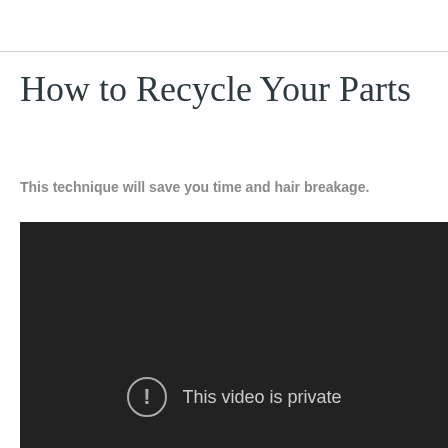How to Recycle Your Parts
This technique will save you time and hair breakage.
[Figure (screenshot): Dark video player showing error message: 'This video is private' with a circle-exclamation icon]